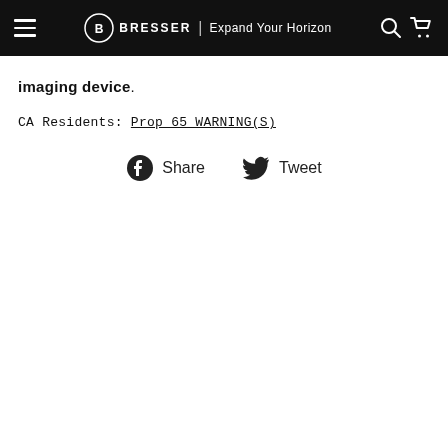BRESSER | Expand Your Horizon
imaging device.
CA Residents: Prop 65 WARNING(S)
Share  Tweet